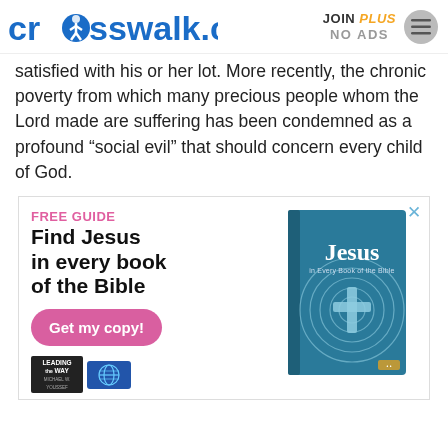crosswalk.com  JOIN PLUS  NO ADS
satisfied with his or her lot. More recently, the chronic poverty from which many precious people whom the Lord made are suffering has been condemned as a profound “social evil” that should concern every child of God.
[Figure (illustration): Advertisement for a free guide 'Find Jesus in every book of the Bible' with a 'Get my copy!' button and a book cover showing 'Jesus in Every Book of the Bible', published by Leading the Way.]